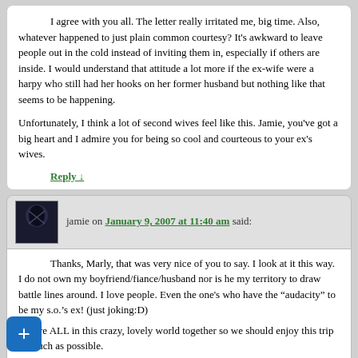I agree with you all. The letter really irritated me, big time. Also, whatever happened to just plain common courtesy? It's awkward to leave people out in the cold instead of inviting them in, especially if others are inside. I would understand that attitude a lot more if the ex-wife were a harpy who still had her hooks on her former husband but nothing like that seems to be happening.
Unfortunately, I think a lot of second wives feel like this. Jamie, you've got a big heart and I admire you for being so cool and courteous to your ex's wives.
Reply ↓
jamie on January 9, 2007 at 11:40 am said:
Thanks, Marly, that was very nice of you to say. I look at it this way. I do not own my boyfriend/fiance/husband nor is he my territory to draw battle lines around. I love people. Even the one's who have the "audacity" to be my s.o.'s ex! (just joking:D) We are ALL in this crazy, lovely world together so we should enjoy this trip as much as possible. I cannot imagine excluding someone who might have something very important to offer me in my perspective on this world just because they swapped body fluids with my s.o.! Silly. Every person that I have met (even the exes) have afforded me an opportunity to